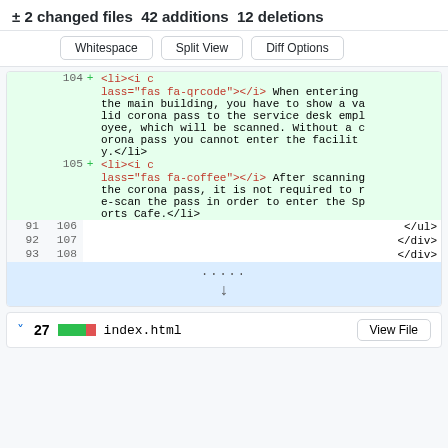± 2 changed files 42 additions 12 deletions
Whitespace | Split View | Diff Options
[Figure (screenshot): Code diff view showing lines 104-108. Lines 104 and 105 are additions (green background) with HTML list items containing icon classes and text. Lines 91-93/106-108 show closing ul and div tags. An expand row appears below with a down arrow. A collapse row with file summary shows: 27, green/red bar, index.html, View File button.]